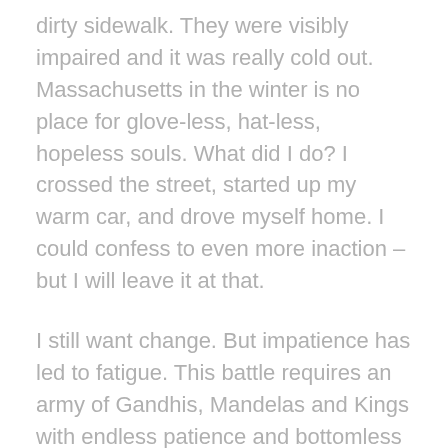dirty sidewalk. They were visibly impaired and it was really cold out. Massachusetts in the winter is no place for glove-less, hat-less, hopeless souls. What did I do? I crossed the street, started up my warm car, and drove myself home. I could confess to even more inaction – but I will leave it at that.
I still want change. But impatience has led to fatigue. This battle requires an army of Gandhis, Mandelas and Kings with endless patience and bottomless hope. Tireless. Selfless. Relentless. We do have heroic soldiers: Joanne Peterson, Maura Healey and Rick Mountcastle all come to mind. But after another record year of overdoses, it is clear we need many, many more. And I am not made of that kind of stuff: I am soft. Or getting soft. And it's so easy to lay down your weaponry.